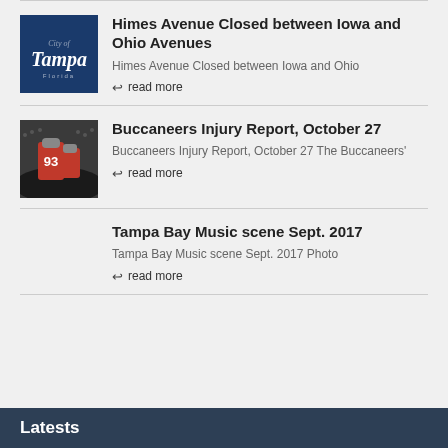[Figure (logo): City of Tampa logo on dark blue background]
Himes Avenue Closed between Iowa and Ohio Avenues
Himes Avenue Closed between Iowa and Ohio
read more
[Figure (photo): Buccaneers player wearing number 93 jersey]
Buccaneers Injury Report, October 27
Buccaneers Injury Report, October 27 The Buccaneers'
read more
Tampa Bay Music scene Sept. 2017
Tampa Bay Music scene Sept. 2017 Photo
read more
Latests